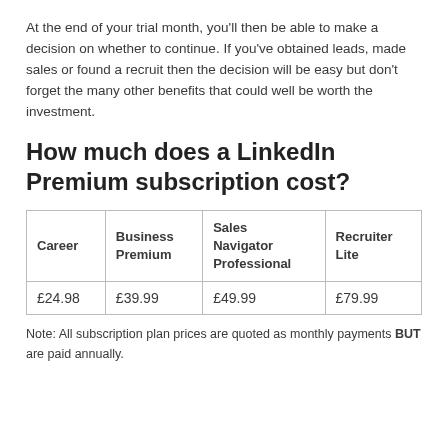At the end of your trial month, you'll then be able to make a decision on whether to continue. If you've obtained leads, made sales or found a recruit then the decision will be easy but don't forget the many other benefits that could well be worth the investment.
How much does a LinkedIn Premium subscription cost?
| Career | Business Premium | Sales Navigator Professional | Recruiter Lite |
| --- | --- | --- | --- |
| £24.98 | £39.99 | £49.99 | £79.99 |
Note: All subscription plan prices are quoted as monthly payments BUT are paid annually.